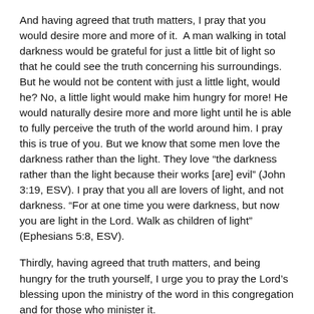And having agreed that truth matters, I pray that you would desire more and more of it. A man walking in total darkness would be grateful for just a little bit of light so that he could see the truth concerning his surroundings. But he would not be content with just a little light, would he? No, a little light would make him hungry for more! He would naturally desire more and more light until he is able to fully perceive the truth of the world around him. I pray this is true of you. But we know that some men love the darkness rather than the light. They love “the darkness rather than the light because their works [are] evil” (John 3:19, ESV). I pray that you all are lovers of light, and not darkness. “For at one time you were darkness, but now you are light in the Lord. Walk as children of light” (Ephesians 5:8, ESV).
Thirdly, having agreed that truth matters, and being hungry for the truth yourself, I urge you to pray the Lord’s blessing upon the ministry of the word in this congregation and for those who minister it.
God’s truth will certainly prevail in the end. More and more I long for this characteristic of the new heavens and earth. There will be many wonderful things in the new heavens and new earth. And sometimes I find myself longing for one aspect of it more than others — no sickness or death, no sin, etc. But think of it, in the new